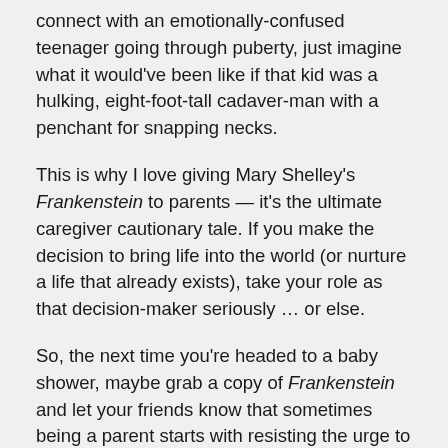connect with an emotionally-confused teenager going through puberty, just imagine what it would've been like if that kid was a hulking, eight-foot-tall cadaver-man with a penchant for snapping necks.
This is why I love giving Mary Shelley's Frankenstein to parents — it's the ultimate caregiver cautionary tale. If you make the decision to bring life into the world (or nurture a life that already exists), take your role as that decision-maker seriously … or else.
So, the next time you're headed to a baby shower, maybe grab a copy of Frankenstein and let your friends know that sometimes being a parent starts with resisting the urge to run away from your horrific little monster at first sight and builds from there.
Or you could give them their fifth copy of Goodnight Moon. Up